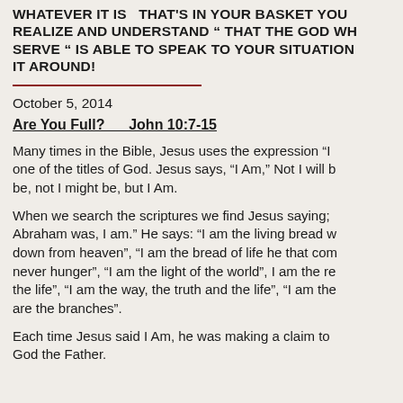WHATEVER IT IS  THAT'S IN YOUR BASKET YOU REALIZE AND UNDERSTAND " THAT THE GOD WH SERVE " IS ABLE TO SPEAK TO YOUR SITUATION IT AROUND!
October 5, 2014
Are You Full?      John 10:7-15
Many times in the Bible, Jesus uses the expression "I one of the titles of God. Jesus says, "I Am," Not I will b be, not I might be, but I Am.
When we search the scriptures we find Jesus saying; Abraham was, I am." He says: "I am the living bread w down from heaven", "I am the bread of life he that com never hunger", "I am the light of the world", I am the re the life", "I am the way, the truth and the life", "I am the are the branches".
Each time Jesus said I Am, he was making a claim to God the Father.